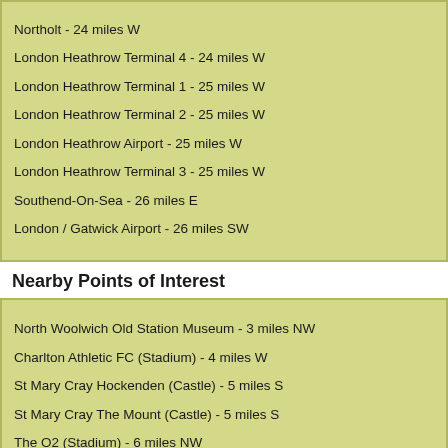Northolt - 24 miles W
London Heathrow Terminal 4 - 24 miles W
London Heathrow Terminal 1 - 25 miles W
London Heathrow Terminal 2 - 25 miles W
London Heathrow Airport - 25 miles W
London Heathrow Terminal 3 - 25 miles W
Southend-On-Sea - 26 miles E
London / Gatwick Airport - 26 miles SW
Nearby Points of Interest
North Woolwich Old Station Museum - 3 miles NW
Charlton Athletic FC (Stadium) - 4 miles W
St Mary Cray Hockenden (Castle) - 5 miles S
St Mary Cray The Mount (Castle) - 5 miles S
The O2 (Stadium) - 6 miles NW
West Ham United FC (Stadium) - 6 miles NW
Great Ilford Lavender Mount (Castle) - 6 miles N
Stone Castle - 7 miles E
Bow (Castle) - 7 miles NW
Lullingstone Park 01959 533793 (Golf Course) - 8 miles S
Peckham Rye Park - 8 miles W
Eynsford Castle - 8 miles SE
Leytonstone Methodist Church - 8 miles NW
St. John's Church - 8 miles NW
Leytonstone United Free Church - 9 miles NW
Clapton Park - 9 miles NW
Elim Pentecostal Church - 9 miles NW